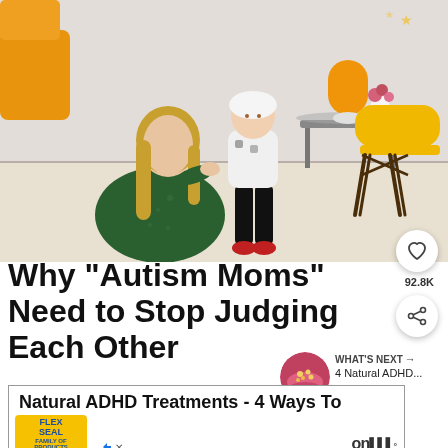[Figure (photo): A mother kneeling on the floor kissing a toddler child in a bright room with an orange lamp, gray table, and yellow chair in the background.]
Why “Autism Moms” Need to Stop Judging Each Other
92.8K
[Figure (photo): Thumbnail image of a bowl with seeds/grains with a pink rim, next to a WHAT'S NEXT label]
WHAT'S NEXT → 4 Natural ADHD...
Natural ADHD Treatments - 4 Ways To
[Figure (logo): Flex Seal Family of Products logo on yellow background]
onm°